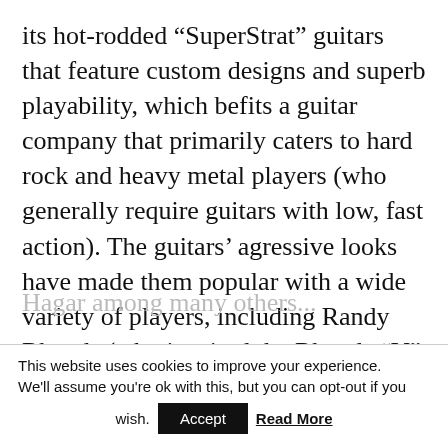its hot-rodded “SuperStrat” guitars that feature custom designs and superb playability, which befits a guitar company that primarily caters to hard rock and heavy metal players (who generally require guitars with low, fast action). The guitars’ agressive looks have made them popular with a wide variety of players, including Randy Rhoads (who inspired the Rhoads “V” model guitar), Vinnie Vincent, Phil Collen, Dan Spitz, Scott Ian, Warren DeMartini, C. C. Deville, and Sammy Hagar among many others...
This website uses cookies to improve your experience. We'll assume you're ok with this, but you can opt-out if you wish. Accept Read More